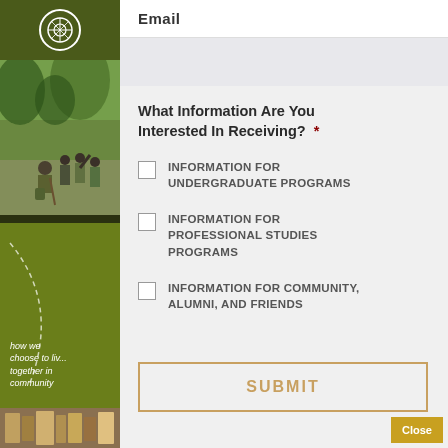[Figure (photo): Left sidebar with dark olive/green background, circular logo icon at top, photo of people outdoors in nature (students pointing at something), green panel with dashed curve decoration and italic white text, small photo strip at bottom]
Email
What Information Are You Interested In Receiving? *
INFORMATION FOR UNDERGRADUATE PROGRAMS
INFORMATION FOR PROFESSIONAL STUDIES PROGRAMS
INFORMATION FOR COMMUNITY, ALUMNI, AND FRIENDS
SUBMIT
Close